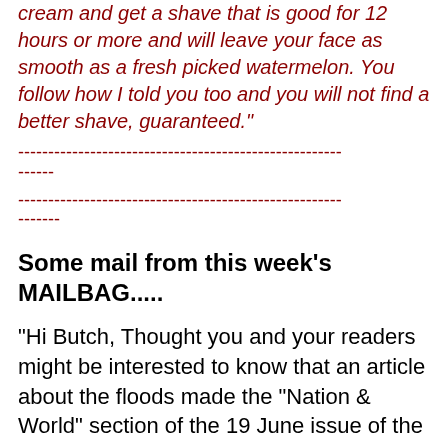cream and get a shave that is good for 12 hours or more and will leave your face as smooth as a fresh picked watermelon. You follow how I told you too and you will not find a better shave, guaranteed."
------------------------------------------------------
------

------------------------------------------------------
-------
Some mail from this week's MAILBAG.....
"Hi Butch, Thought you and your readers might be interested to know that an article about the floods made the "Nation & World" section of the 19 June issue of the